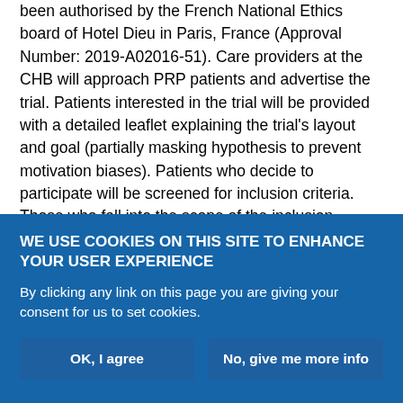been authorised by the French National Ethics board of Hotel Dieu in Paris, France (Approval Number: 2019-A02016-51). Care providers at the CHB will approach PRP patients and advertise the trial. Patients interested in the trial will be provided with a detailed leaflet explaining the trial's layout and goal (partially masking hypothesis to prevent motivation biases). Patients who decide to participate will be screened for inclusion criteria. Those who fall into the scope of the inclusion criteria will be asked to sign an informed consent form. They will be informed that they will be included in either the Hypnosis Arm or the Relaxation Arm. A unique random 3-digit numerical ID will be assigned to each patient to ensure participant anonymity throughout the trial.
WE USE COOKIES ON THIS SITE TO ENHANCE YOUR USER EXPERIENCE
By clicking any link on this page you are giving your consent for us to set cookies.
OK, I agree
No, give me more info